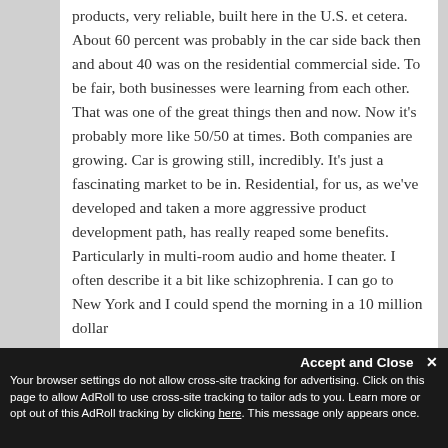products, very reliable, built here in the U.S. et cetera. About 60 percent was probably in the car side back then and about 40 was on the residential commercial side. To be fair, both businesses were learning from each other. That was one of the great things then and now. Now it's probably more like 50/50 at times. Both companies are growing. Car is growing still, incredibly. It's just a fascinating market to be in. Residential, for us, as we've developed and taken a more aggressive product development path, has really reaped some benefits. Particularly in multi-room audio and home theater. I often describe it a bit like schizophrenia. I can go to New York and I could spend the morning in a 10 million dollar.
Accept and Close ✕
Your browser settings do not allow cross-site tracking for advertising. Click on this page to allow AdRoll to use cross-site tracking to tailor ads to you. Learn more or opt out of this AdRoll tracking by clicking here. This message only appears once.